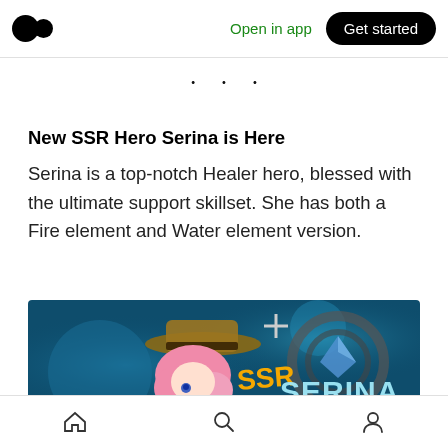Medium logo | Open in app | Get started
• • •
New SSR Hero Serina is Here
Serina is a top-notch Healer hero, blessed with the ultimate support skillset. She has both a Fire element and Water element version.
[Figure (illustration): Game promotional banner showing anime-style pink-haired character with hat on left, and SSR SERINA text with game logo on right, on dark teal background with stars]
Home | Search | Profile